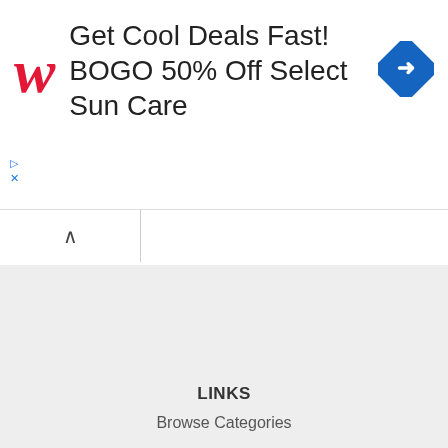[Figure (other): Walgreens advertisement banner: red italic W logo, text 'Get Cool Deals Fast! BOGO 50% Off Select Sun Care', blue diamond turn-right navigation icon]
BACK TO TOP ⋀
LINKS
Browse Categories
Browse Locations
Jobs in Nepal
Our Global Network
Public Holidays in Nepal
Real Estate in Nepal
USERS